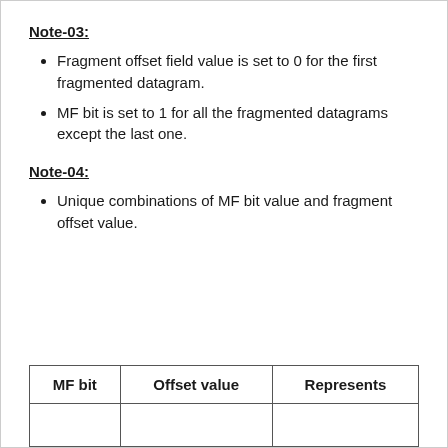Note-03:
Fragment offset field value is set to 0 for the first fragmented datagram.
MF bit is set to 1 for all the fragmented datagrams except the last one.
Note-04:
Unique combinations of MF bit value and fragment offset value.
| MF bit | Offset value | Represents |
| --- | --- | --- |
|  |  |  |